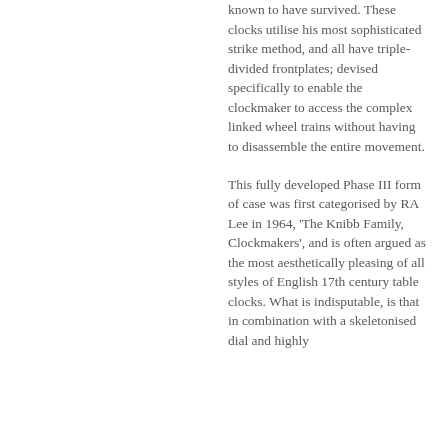known to have survived. These clocks utilise his most sophisticated strike method, and all have triple-divided frontplates; devised specifically to enable the clockmaker to access the complex linked wheel trains without having to disassemble the entire movement.
This fully developed Phase III form of case was first categorised by RA Lee in 1964, 'The Knibb Family, Clockmakers', and is often argued as the most aesthetically pleasing of all styles of English 17th century table clocks. What is indisputable, is that in combination with a skeletonised dial and highly